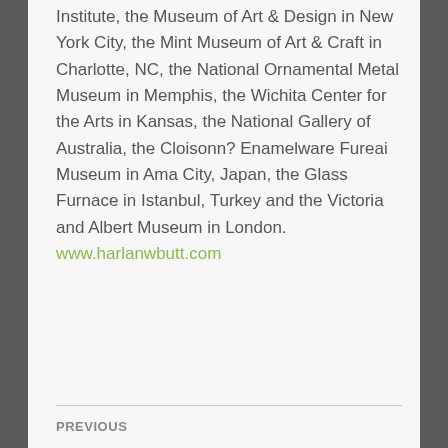Institute, the Museum of Art & Design in New York City, the Mint Museum of Art & Craft in Charlotte, NC, the National Ornamental Metal Museum in Memphis, the Wichita Center for the Arts in Kansas, the National Gallery of Australia, the Cloisonn? Enamelware Fureai Museum in Ama City, Japan, the Glass Furnace in Istanbul, Turkey and the Victoria and Albert Museum in London. www.harlanwbutt.com
PREVIOUS